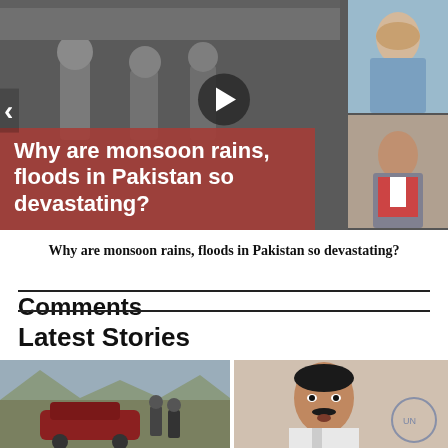[Figure (screenshot): Video slideshow banner showing people in background, red overlay with headline text 'Why are monsoon rains, floods in Pakistan so devastating?', play button, navigation arrows, and two thumbnail images on the right side.]
Why are monsoon rains, floods in Pakistan so devastating?
Comments
Latest Stories
[Figure (photo): Photo of a damaged red car in a rugged landscape with people around it.]
[Figure (photo): Photo of a man speaking, possibly at a press conference, with a UN logo visible in background.]